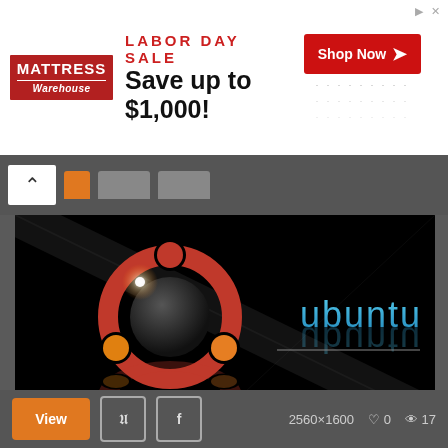[Figure (screenshot): Mattress Warehouse Labor Day Sale advertisement banner: red logo on left, text 'LABOR DAY SALE Save up to $1,000!' in center, red 'Shop Now' button on right with dotted pattern]
[Figure (screenshot): Browser chrome bar showing a chevron/back button, orange active tab, and two grey inactive tabs on dark grey background]
[Figure (illustration): Ubuntu Linux desktop wallpaper on black background: Ubuntu circular logo (red/orange/gold) on left with white lens flare, 'ubuntu' text in cyan on right with reflection, white horizontal line below text, diagonal light stripe across image]
2560x1600 Linux Wallpape...
[Figure (screenshot): Bottom toolbar with orange 'View' button, Pinterest and Facebook icon buttons, resolution '2560×1600', heart icon '0', eye icon '17']